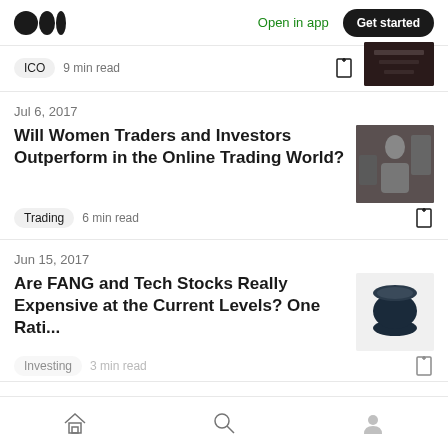Medium logo | Open in app | Get started
ICO  9 min read
Jul 6, 2017
Will Women Traders and Investors Outperform in the Online Trading World?
Trading  6 min read
Jun 15, 2017
Are FANG and Tech Stocks Really Expensive at the Current Levels? One Rati...
Investing  3 min read
Home | Search | Profile